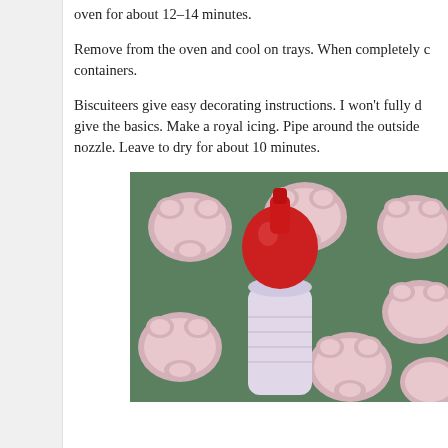oven for about 12–14 minutes.
Remove from the oven and cool on trays. When completely c containers.
Biscuiteers give easy decorating instructions. I won't fully d give the basics. Make a royal icing. Pipe around the outside nozzle. Leave to dry for about 10 minutes.
[Figure (photo): A red icing squeeze bottle with nozzle tip, surrounded by pink Peppa Pig shaped iced cookies on a green tray.]